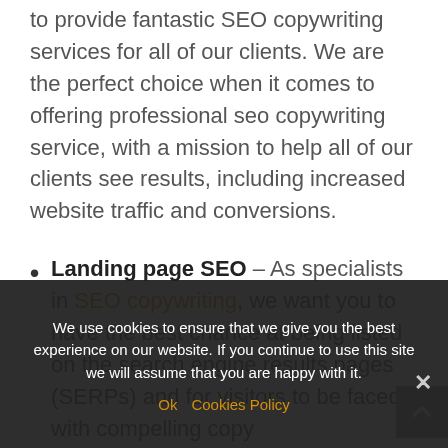to provide fantastic SEO copywriting services for all of our clients. We are the perfect choice when it comes to offering professional seo copywriting service, with a mission to help all of our clients see results, including increased website traffic and conversions.
Landing page SEO – As specialists in SEO copywriting, we want you to have the best chance at being listed on the search engine results pages (SERPs) and for visitors to be faced with compelling copy that will keep them interested once they ... is for a landing page to be engaging.
We use cookies to ensure that we give you the best experience on our website. If you continue to use this site we will assume that you are happy with it.